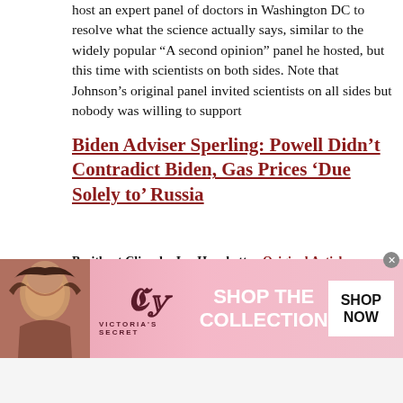host an expert panel of doctors in Washington DC to resolve what the science actually says, similar to the widely popular “A second opinion” panel he hosted, but this time with scientists on both sides. Note that Johnson’s original panel invited scientists on all sides but nobody was willing to support
Biden Adviser Sperling: Powell Didn’t Contradict Biden, Gas Prices ‘Due Solely to’ Russia
Breitbart Clips, by Ian Hanchett    Original Article
Posted by Imright — 6/23/2022 3:22:11 AM Post Reply
On Wednesday’s broadcast of CNN’s “The Lead,” Senior Adviser to President Joe Biden Gene Sperling said that Federal Reserve Chairman Jerome Powell’s comments that high inflation pre-dates Russia’s invasion of Ukraine don’t contradict President Joe Biden’s rhetoric and “the reason we’ve seen the gas price rise, both here and really around the world, is due to Putin.” Sperling responded to Powell’s
[Figure (infographic): Victoria's Secret advertisement banner with a woman model, VS logo, 'SHOP THE COLLECTION' text, and 'SHOP NOW' button]